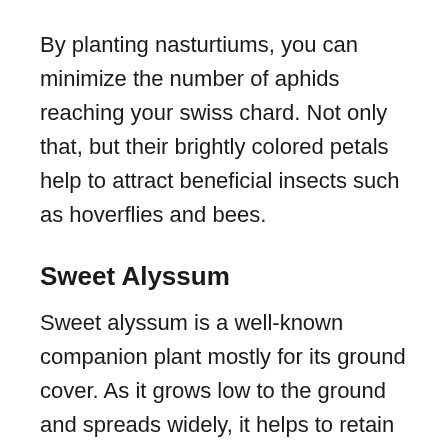By planting nasturtiums, you can minimize the number of aphids reaching your swiss chard. Not only that, but their brightly colored petals help to attract beneficial insects such as hoverflies and bees.
Sweet Alyssum
Sweet alyssum is a well-known companion plant mostly for its ground cover. As it grows low to the ground and spreads widely, it helps to retain moisture and nutrients within the soil, whilst also protecting it from the